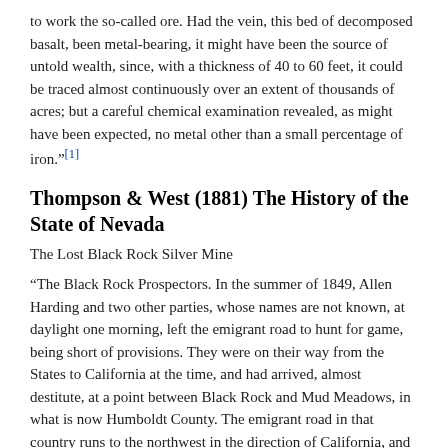to work the so-called ore. Had the vein, this bed of decomposed basalt, been metal-bearing, it might have been the source of untold wealth, since, with a thickness of 40 to 60 feet, it could be traced almost continuously over an extent of thousands of acres; but a careful chemical examination revealed, as might have been expected, no metal other than a small percentage of iron."[1]
Thompson & West (1881) The History of the State of Nevada
The Lost Black Rock Silver Mine
"The Black Rock Prospectors. In the summer of 1849, Allen Harding and two other parties, whose names are not known, at daylight one morning, left the emigrant road to hunt for game, being short of provisions. They were on their way from the States to California at the time, and had arrived, almost destitute, at a point between Black Rock and Mud Meadows, in what is now Humboldt County. The emigrant road in that country runs to the northwest in the direction of California, and these three men, in seeking game, for food, had passed into the mountains, to the northeast of it. It was a barren, desolate, burned region of black igneous rocks, and volcanic ashes, where they had gone, and the hunters found no game. On their return to camp about noon, they brought with them, however, a chunk of bright metal that weighed about twenty-five pounds, and pronouncing it silver, tried to get a man who was short of sufficient oxen to haul his own